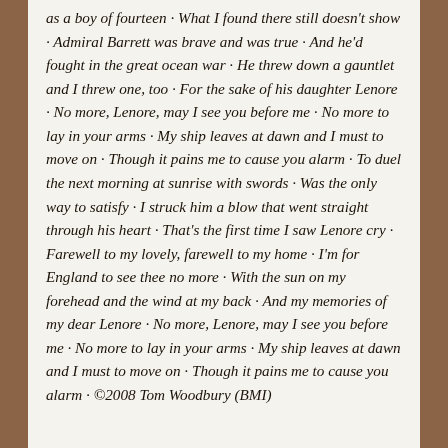as a boy of fourteen · What I found there still doesn't show · Admiral Barrett was brave and was true · And he'd fought in the great ocean war · He threw down a gauntlet and I threw one, too · For the sake of his daughter Lenore · No more, Lenore, may I see you before me · No more to lay in your arms · My ship leaves at dawn and I must to move on · Though it pains me to cause you alarm · To duel the next morning at sunrise with swords · Was the only way to satisfy · I struck him a blow that went straight through his heart · That's the first time I saw Lenore cry · Farewell to my lovely, farewell to my home · I'm for England to see thee no more · With the sun on my forehead and the wind at my back · And my memories of my dear Lenore · No more, Lenore, may I see you before me · No more to lay in your arms · My ship leaves at dawn and I must to move on · Though it pains me to cause you alarm · ©2008 Tom Woodbury (BMI)